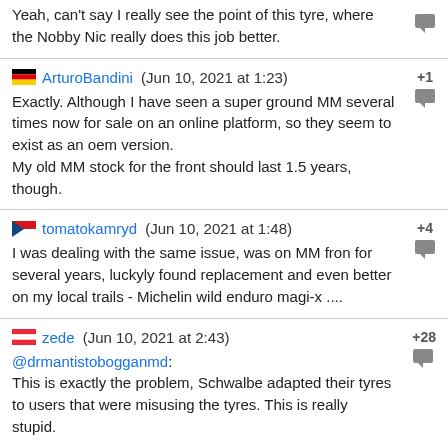Yeah, can't say I really see the point of this tyre, where the Nobby Nic really does this job better.
ArturoBandini (Jun 10, 2021 at 1:23) +1
Exactly. Although I have seen a super ground MM several times now for sale on an online platform, so they seem to exist as an oem version.
My old MM stock for the front should last 1.5 years, though.
tomatokamryd (Jun 10, 2021 at 1:48) +4
I was dealing with the same issue, was on MM fron for several years, luckyly found replacement and even better on my local trails - Michelin wild enduro magi-x ....
zede (Jun 10, 2021 at 2:43) +28
@drmantistobogganmd:
This is exactly the problem, Schwalbe adapted their tyres to users that were misusing the tyres. This is really stupid.

It's like if people start to use the lightest XC wheels for DH and then come crying "DT swiss 1200g carbon wheels are shit, I broke them on my first Champery ride". Then DT proceeds to